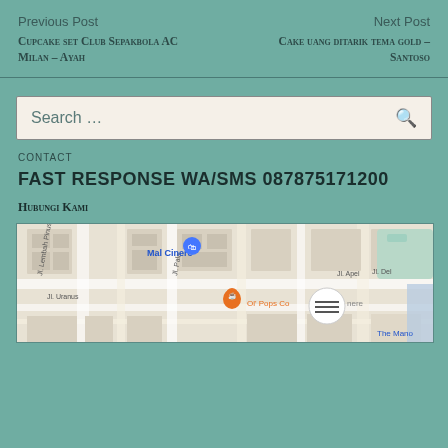Previous Post
Cupcake set Club Sepakbola AC Milan – Ayah
Next Post
Cake uang ditarik tema gold – Santoso
Search …
CONTACT
FAST RESPONSE WA/SMS 087875171200
Hubungi Kami
[Figure (map): Google Maps embed showing area around Mal Cinere, with street labels including Jl. Lembah Pinus, Jl. Pala, Jl. Apel, Widuri, Jl. Uranus, Jl. Del. Markers include a blue shopping bag pin near Mal Cinere, an orange coffee cup pin for Ol' Pops Co Cinere, and a menu/hamburger button circle. 'The Mano' text visible at bottom right.]